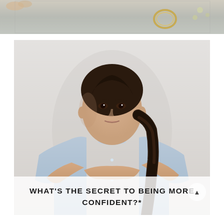[Figure (photo): Top strip showing partial background scene with soft grey-green tones, a gold ring/bracelet visible on the right side]
[Figure (photo): Portrait photo of a young woman with dark braided hair, wearing a light blue button-up shirt, arms crossed, standing against a light grey/white background, looking slightly off-camera]
WHAT'S THE SECRET TO BEING MORE CONFIDENT?*